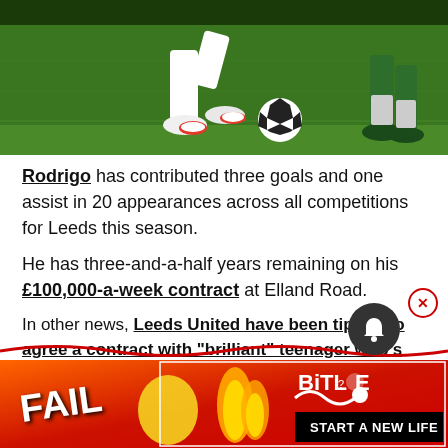[Figure (photo): Soccer player legs in white socks and cleats dribbling a ball on green grass field, with another player's legs visible on right side]
Rodrigo has contributed three goals and one assist in 20 appearances across all competitions for Leeds this season.
He has three-and-a-half years remaining on his £100,000-a-week contract at Elland Road.
In other news, Leeds United have been tipped to agree a contract with "brilliant" teenager who's blown Whelan away.
[Figure (screenshot): BitLife advertisement banner with FAIL text, cartoon character, flames, and START A NEW LIFE text on red background]